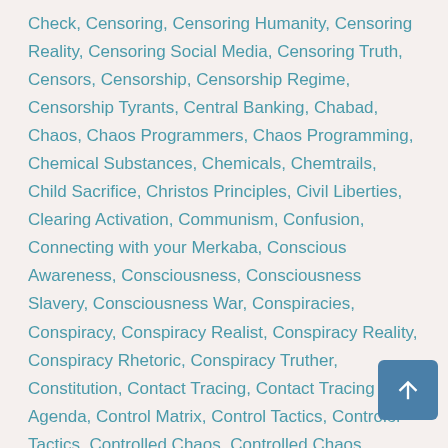Check, Censoring, Censoring Humanity, Censoring Reality, Censoring Social Media, Censoring Truth, Censors, Censorship, Censorship Regime, Censorship Tyrants, Central Banking, Chabad, Chaos, Chaos Programmers, Chaos Programming, Chemical Substances, Chemicals, Chemtrails, Child Sacrifice, Christos Principles, Civil Liberties, Clearing Activation, Communism, Confusion, Connecting with your Merkaba, Conscious Awareness, Consciousness, Consciousness Slavery, Consciousness War, Conspiracies, Conspiracy, Conspiracy Realist, Conspiracy Reality, Conspiracy Rhetoric, Conspiracy Truther, Constitution, Contact Tracing, Contact Tracing Agenda, Control Matrix, Control Tactics, Controler Tactics, Controlled Chaos, Controlled Chaos Strategies, Controller Pillars, Controller Pillars of Society, Controllers, Controlling Perception, Co Essence, Corona Virus, Corona World Order, Coronavir Coronavirus 5G Connection, Coronavirus Censorship Regime, Coronavirus Conspiracy, Coronavirus COVID-19, Coronavirus Crisis, Coronavirus Hoax, Coronavirus